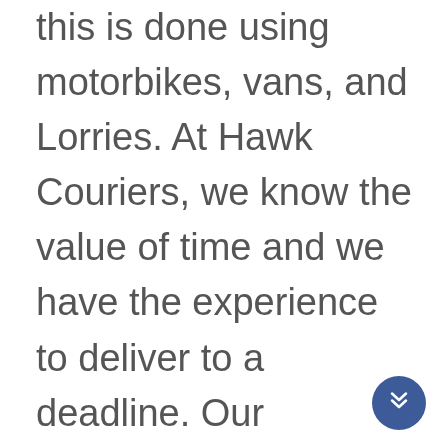this is done using motorbikes, vans, and Lorries. At Hawk Couriers, we know the value of time and we have the experience to deliver to a deadline. Our sameday courier service is available in and around the Wolverhampton